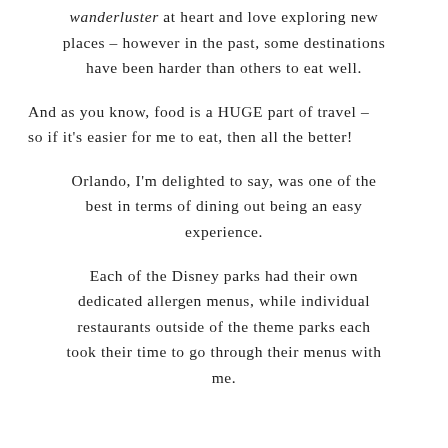wanderluster at heart and love exploring new places – however in the past, some destinations have been harder than others to eat well.
And as you know, food is a HUGE part of travel – so if it's easier for me to eat, then all the better!
Orlando, I'm delighted to say, was one of the best in terms of dining out being an easy experience.
Each of the Disney parks had their own dedicated allergen menus, while individual restaurants outside of the theme parks each took their time to go through their menus with me.